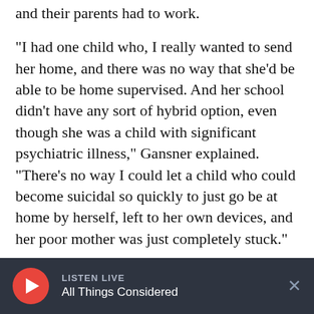and their parents had to work.
"I had one child who, I really wanted to send her home, and there was no way that she'd be able to be home supervised. And her school didn't have any sort of hybrid option, even though she was a child with significant psychiatric illness," Gansner explained. "There's no way I could let a child who could become suicidal so quickly to just go be at home by herself, left to her own devices, and her poor mother was just completely stuck."
Gansner says if the state ever shuts down again,
LISTEN LIVE
All Things Considered